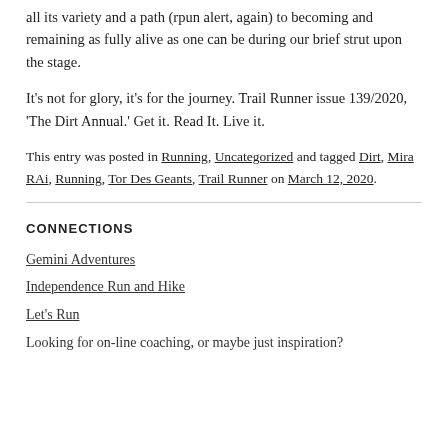all its variety and a path (rpun alert, again) to becoming and remaining as fully alive as one can be during our brief strut upon the stage.
It's not for glory, it's for the journey. Trail Runner issue 139/2020, 'The Dirt Annual.' Get it. Read It. Live it.
This entry was posted in Running, Uncategorized and tagged Dirt, Mira RAi, Running, Tor Des Geants, Trail Runner on March 12, 2020.
CONNECTIONS
Gemini Adventures
Independence Run and Hike
Let's Run
Looking for on-line coaching, or maybe just inspiration?